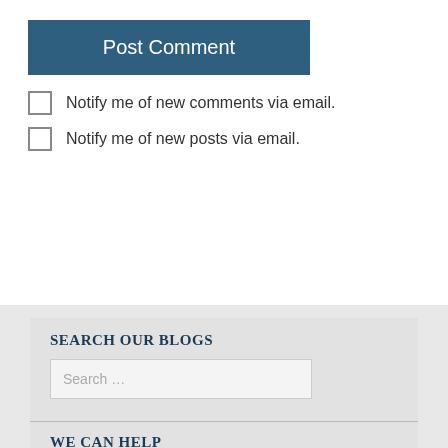[Figure (other): Post Comment button — dark teal rectangular button with white text]
Notify me of new comments via email.
Notify me of new posts via email.
SEARCH OUR BLOGS
Search …
WE CAN HELP
Free in office consultation
CONTACT US